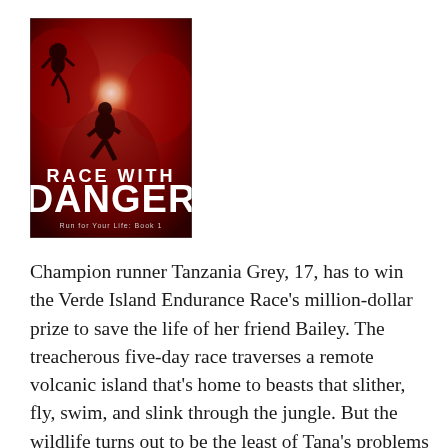[Figure (illustration): Book cover for 'Race With Danger' – Run for Your Life Book 1. Dark red background with silhouettes of a person and an animal (possibly a monkey). Large white text reads 'RACE WITH' at top and 'DANGER' in bold large letters below.]
Champion runner Tanzania Grey, 17, has to win the Verde Island Endurance Race's million-dollar prize to save the life of her friend Bailey. The treacherous five-day race traverses a remote volcanic island that's home to beasts that slither, fly, swim, and slink through the jungle. But the wildlife turns out to be the least of Tana's problems when she draws the name of Sebastian Callendro as her partner. Sebastian's personal life has put him in the national spotlight, and his nosy followers are the kind Tana can't afford. Her name isn't really Tanzania, and everything else in her biography is